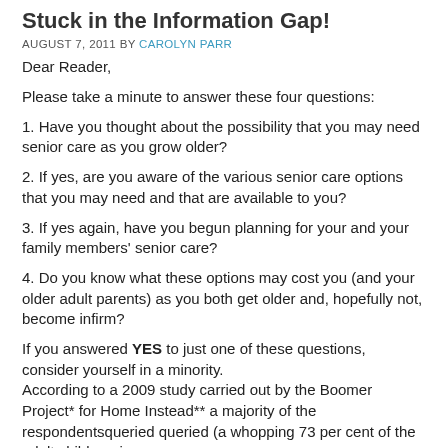Stuck in the Information Gap!
AUGUST 7, 2011 BY CAROLYN PARR
Dear Reader,
Please take a minute to answer these four questions:
1. Have you thought about the possibility that you may need senior care as you grow older?
2. If yes, are you aware of the various senior care options that you may need and that are available to you?
3. If yes again, have you begun planning for your and your family members' senior care?
4. Do you know what these options may cost you (and your older adult parents) as you both get older and, hopefully not, become infirm?
If you answered YES to just one of these questions, consider yourself in a minority.
According to a 2009 study carried out by the Boomer Project* for Home Instead** a majority of the respondentsqueried queried (a whopping 73 per cent of the adult children, i.e.,